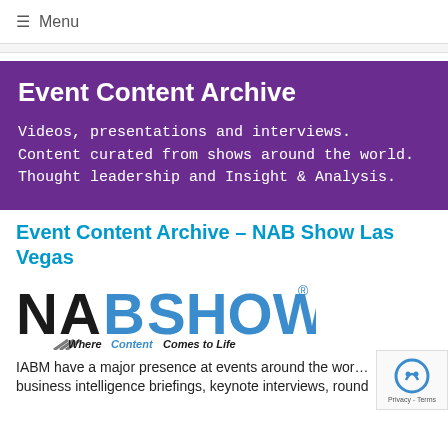☰ Menu
Event Content Archive
Videos, presentations and interviews. Content curated from shows around the world. Thought leadership and Insight & Analysis.
Event Content Archive – NAB Show Las Vegas
[Figure (logo): NAB Show logo with tagline 'Where Content Comes to Life']
IABM have a major presence at events around the world business intelligence briefings, keynote interviews, round